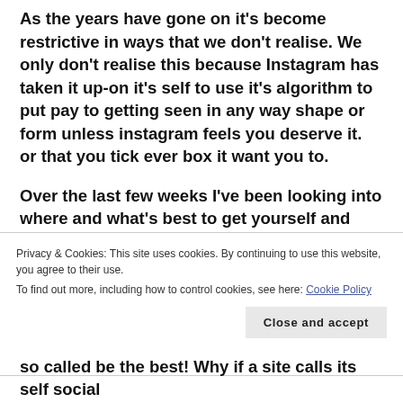As the years have gone on it's become restrictive in ways that we don't realise. We only don't realise this because Instagram has taken it up-on it's self to use it's algorithm to put pay to getting seen in any way shape or form unless instagram feels you deserve it. or that you tick ever box it want you to.
Over the last few weeks I've been looking into where and what's best to get yourself and images seen and noticed.
Privacy & Cookies: This site uses cookies. By continuing to use this website, you agree to their use. To find out more, including how to control cookies, see here: Cookie Policy
so called be the best! Why if a site calls its self social